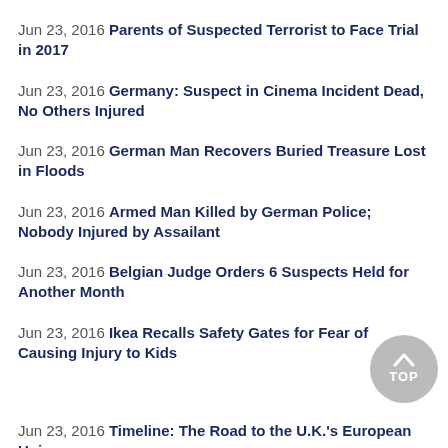Jun 23, 2016 Parents of Suspected Terrorist to Face Trial in 2017
Jun 23, 2016 Germany: Suspect in Cinema Incident Dead, No Others Injured
Jun 23, 2016 German Man Recovers Buried Treasure Lost in Floods
Jun 23, 2016 Armed Man Killed by German Police; Nobody Injured by Assailant
Jun 23, 2016 Belgian Judge Orders 6 Suspects Held for Another Month
Jun 23, 2016 Ikea Recalls Safety Gates for Fear of Causing Injury to Kids
Jun 23, 2016 Timeline: The Road to the U.K.'s European Union Referendum